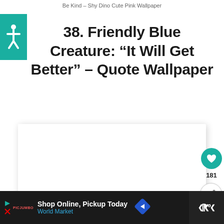Be Kind – Shy Dino Cute Pink Wallpaper
38. Friendly Blue Creature: “It Will Get Better” – Quote Wallpaper
[Figure (screenshot): White image card area with shadow, showing wallpaper preview placeholder. Heart button (teal circle with heart icon) showing 181 likes, and a share button (white circle with share icon) on the right side.]
181
[Figure (screenshot): Dark advertisement bar at the bottom: 'Shop Online, Pickup Today' for World Market with a red play/arrow icon, blue directional sign icon, and a dark panel on the right with dots.]